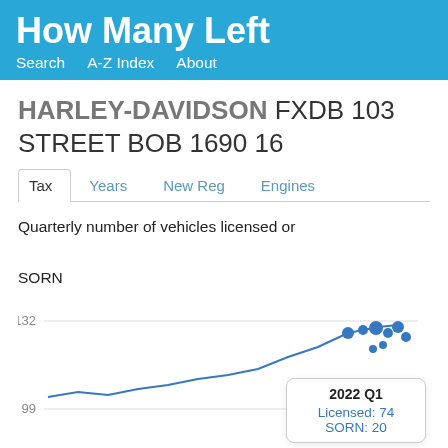How Many Left
Search   A-Z Index   About
HARLEY-DAVIDSON FXDB 103 STREET BOB 1690 16
Tax   Years   New Reg   Engines
Quarterly number of vehicles licensed or SORN
[Figure (line-chart): Line chart showing quarterly licensed and SORN vehicle counts. Y-axis labels visible: 132, 99. Tooltip shown for 2022 Q1: Licensed: 74, SORN: 20]